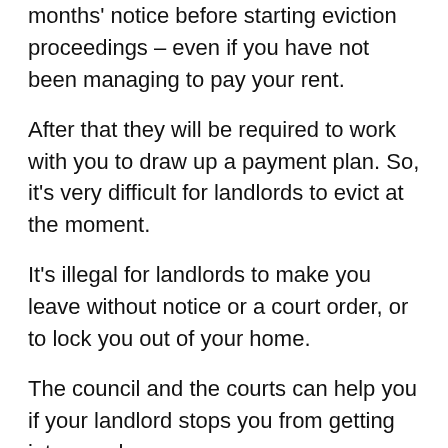months' notice before starting eviction proceedings – even if you have not been managing to pay your rent.
After that they will be required to work with you to draw up a payment plan. So, it's very difficult for landlords to evict at the moment.
It's illegal for landlords to make you leave without notice or a court order, or to lock you out of your home.
The council and the courts can help you if your landlord stops you from getting into your home.
Can landlords evict lodgers?
They can, but they still need to follow the rules, which means they have to give you reasonable notice – and